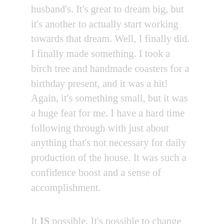husband's. It's great to dream big, but it's another to actually start working towards that dream. Well, I finally did. I finally made something. I took a birch tree and handmade coasters for a birthday present, and it was a hit! Again, it's something small, but it was a huge feat for me. I have a hard time following through with just about anything that's not necessary for daily production of the house. It was such a confidence boost and a sense of accomplishment.
It IS possible. It's possible to change the rules we live by, to change our perception of life to happiness. It's easy to get caught up with what others have, but social media isn't reality. Your life is what's real. Do what makes you happy. If you feel you can't (for one reason or another), I can almost guarantee there is a